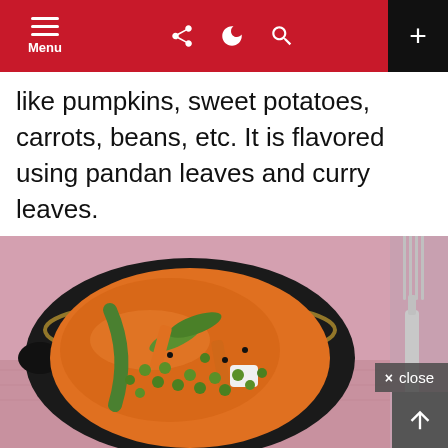Menu (navigation bar with share, dark mode, search, and add icons)
like pumpkins, sweet potatoes, carrots, beans, etc. It is flavored using pandan leaves and curry leaves.
[Figure (photo): A black bowl filled with vegetable curry in an orange/red sauce, containing green peas, long beans, carrots, and other vegetables. A silver fork is visible on the right side. The bowl sits on a pink cloth on a grey surface.]
× close